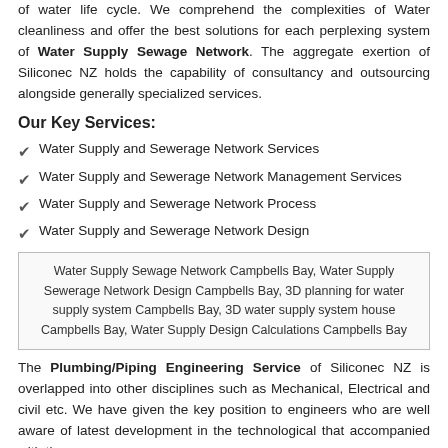of water life cycle. We comprehend the complexities of Water cleanliness and offer the best solutions for each perplexing system of Water Supply Sewage Network. The aggregate exertion of Siliconec NZ holds the capability of consultancy and outsourcing alongside generally specialized services.
Our Key Services:
Water Supply and Sewerage Network Services
Water Supply and Sewerage Network Management Services
Water Supply and Sewerage Network Process
Water Supply and Sewerage Network Design
Water Supply Sewage Network Campbells Bay, Water Supply Sewerage Network Design Campbells Bay, 3D planning for water supply system Campbells Bay, 3D water supply system house Campbells Bay, Water Supply Design Calculations Campbells Bay
The Plumbing/Piping Engineering Service of Siliconec NZ is overlapped into other disciplines such as Mechanical, Electrical and civil etc. We have given the key position to engineers who are well aware of latest development in the technological that accompanied with the